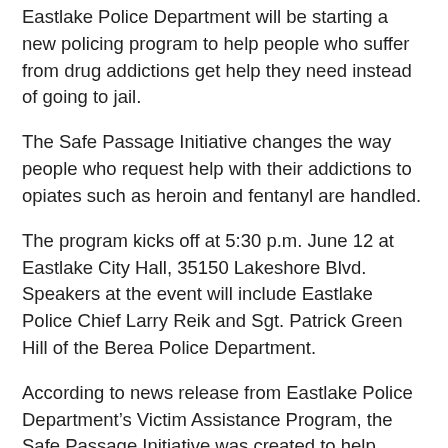Eastlake Police Department will be starting a new policing program to help people who suffer from drug addictions get help they need instead of going to jail.
The Safe Passage Initiative changes the way people who request help with their addictions to opiates such as heroin and fentanyl are handled.
The program kicks off at 5:30 p.m. June 12 at Eastlake City Hall, 35150 Lakeshore Blvd. Speakers at the event will include Eastlake Police Chief Larry Reik and Sgt. Patrick Green Hill of the Berea Police Department.
According to news release from Eastlake Police Department's Victim Assistance Program, the Safe Passage Initiative was created to help those with addiction to heroin or opiates into recovery.
“If you need help or know someone who needs helps